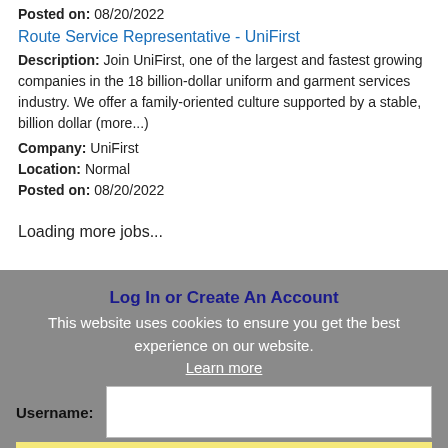Posted on: 08/20/2022
Route Service Representative - UniFirst
Description: Join UniFirst, one of the largest and fastest growing companies in the 18 billion-dollar uniform and garment services industry. We offer a family-oriented culture supported by a stable, billion dollar (more...)
Company: UniFirst
Location: Normal
Posted on: 08/20/2022
Loading more jobs...
Log In or Create An Account
This website uses cookies to ensure you get the best experience on our website.
Learn more
Username:
Password:
Got it!